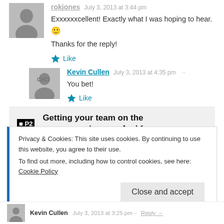Exxxxxxcellent! Exactly what I was hoping to hear. 🙂
Thanks for the reply!
★ Like
Kevin Cullen  July 3, 2013 at 4:35 pm ··
You bet!
★ Like
[Figure (infographic): P2 advertisement banner: Getting your team on the same page is easy. And free.]
REPORT THIS AD
Privacy & Cookies: This site uses cookies. By continuing to use this website, you agree to their use.
To find out more, including how to control cookies, see here: Cookie Policy
Close and accept
Kevin Cullen  July 3, 2013 at 3:25 pm ·· Reply →